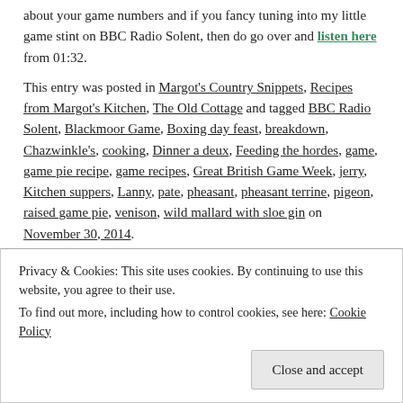about your game numbers and if you fancy tuning into my little game stint on BBC Radio Solent, then do go over and listen here from 01:32.
This entry was posted in Margot's Country Snippets, Recipes from Margot's Kitchen, The Old Cottage and tagged BBC Radio Solent, Blackmoor Game, Boxing day feast, breakdown, Chazwinkle's, cooking, Dinner a deux, Feeding the hordes, game, game pie recipe, game recipes, Great British Game Week, jerry, Kitchen suppers, Lanny, pate, pheasant, pheasant terrine, pigeon, raised game pie, venison, wild mallard with sloe gin on November 30, 2014.
Privacy & Cookies: This site uses cookies. By continuing to use this website, you agree to their use. To find out more, including how to control cookies, see here: Cookie Policy